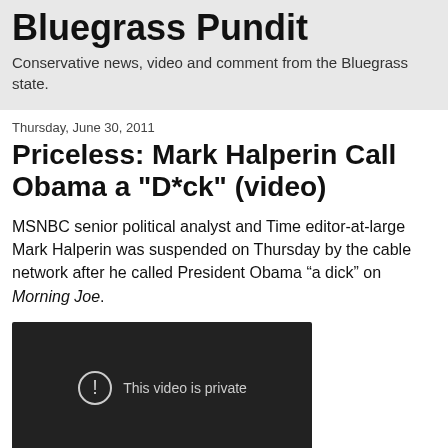Bluegrass Pundit
Conservative news, video and comment from the Bluegrass state.
Thursday, June 30, 2011
Priceless: Mark Halperin Call Obama a "D*ck" (video)
MSNBC senior political analyst and Time editor-at-large Mark Halperin was suspended on Thursday by the cable network after he called President Obama “a dick” on Morning Joe.
[Figure (screenshot): Embedded video player showing 'This video is private' message with an exclamation circle icon on a dark background.]